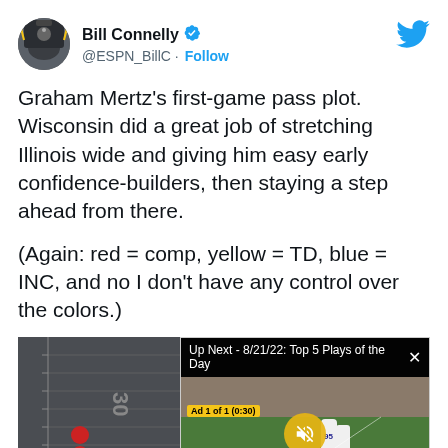[Figure (screenshot): Twitter/X profile avatar of Bill Connelly showing a camera silhouette with stadium lights]
Bill Connelly @ESPN_BillC · Follow
[Figure (logo): Twitter bird logo in blue]
Graham Mertz's first-game pass plot. Wisconsin did a great job of stretching Illinois wide and giving him easy early confidence-builders, then staying a step ahead from there.
(Again: red = comp, yellow = TD, blue = INC, and no I don't have any control over the colors.)
[Figure (screenshot): Partial football field pass plot visualization showing yard lines, two red dots indicating completed passes on the left side of the field]
[Figure (screenshot): Video overlay showing a baseball game with players on field, with a top bar reading 'Up Next - 8/21/22: Top 5 Plays of the Day' and a yellow muted audio button. Ad label reads 'Ad 1 of 1 (0:30)']